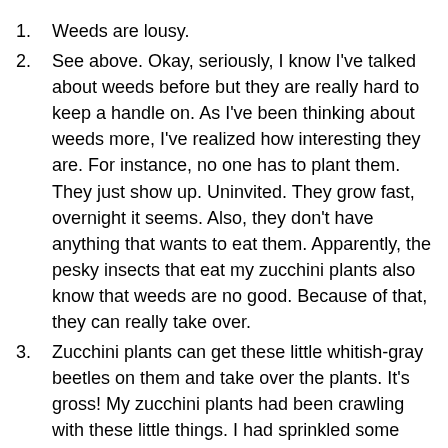Weeds are lousy.
See above. Okay, seriously, I know I've talked about weeds before but they are really hard to keep a handle on. As I've been thinking about weeds more, I've realized how interesting they are. For instance, no one has to plant them. They just show up. Uninvited. They grow fast, overnight it seems. Also, they don't have anything that wants to eat them. Apparently, the pesky insects that eat my zucchini plants also know that weeds are no good. Because of that, they can really take over.
Zucchini plants can get these little whitish-gray beetles on them and take over the plants. It's gross! My zucchini plants had been crawling with these little things. I had sprinkled some Sevin Dust (it's actually spelled that way) on them but we have had so much rain this year that it kept washing off. I debated sprinkling more but we are tired of zucchini around here so just let the little guys go at it. The beetles were supposed to have no place then...